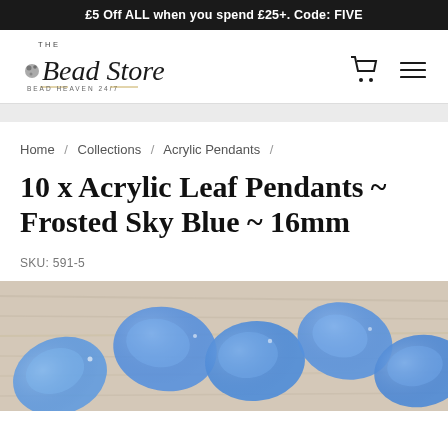£5 Off ALL when you spend £25+. Code: FIVE
[Figure (logo): The Bead Store — Bead Heaven 24/7 logo with shopping cart and hamburger menu icons]
Home / Collections / Acrylic Pendants /
10 x Acrylic Leaf Pendants ~ Frosted Sky Blue ~ 16mm
SKU: 591-5
[Figure (photo): Close-up photo of frosted sky blue acrylic leaf pendants on a light wooden surface]